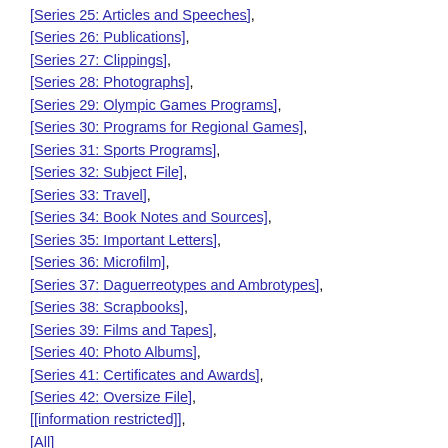[Series 25: Articles and Speeches],
[Series 26: Publications],
[Series 27: Clippings],
[Series 28: Photographs],
[Series 29: Olympic Games Programs],
[Series 30: Programs for Regional Games],
[Series 31: Sports Programs],
[Series 32: Subject File],
[Series 33: Travel],
[Series 34: Book Notes and Sources],
[Series 35: Important Letters],
[Series 36: Microfilm],
[Series 37: Daguerreotypes and Ambrotypes],
[Series 38: Scrapbooks],
[Series 39: Films and Tapes],
[Series 40: Photo Albums],
[Series 41: Certificates and Awards],
[Series 42: Oversize File],
[[information restricted]],
[All]
Series 22: Sports Publications
Box 256
Folder 2: Association Internationale de la Presse Sportive, 1958, 1966-69